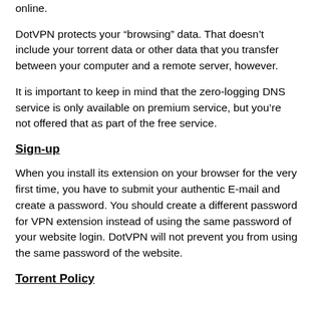browser extensions can see everything you're doing online.
DotVPN protects your “browsing” data. That doesn’t include your torrent data or other data that you transfer between your computer and a remote server, however.
It is important to keep in mind that the zero-logging DNS service is only available on premium service, but you’re not offered that as part of the free service.
Sign-up
When you install its extension on your browser for the very first time, you have to submit your authentic E-mail and create a password. You should create a different password for VPN extension instead of using the same password of your website login. DotVPN will not prevent you from using the same password of the website.
Torrent Policy